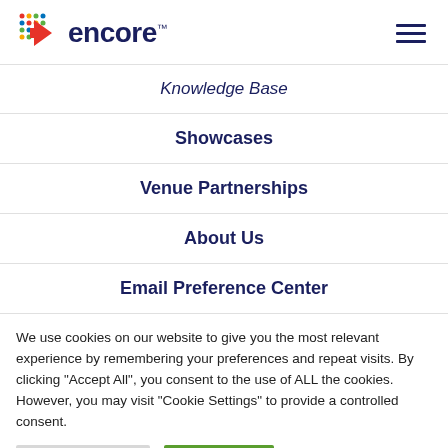encore
Knowledge Base
Showcases
Venue Partnerships
About Us
Email Preference Center
We use cookies on our website to give you the most relevant experience by remembering your preferences and repeat visits. By clicking “Accept All”, you consent to the use of ALL the cookies. However, you may visit “Cookie Settings” to provide a controlled consent.